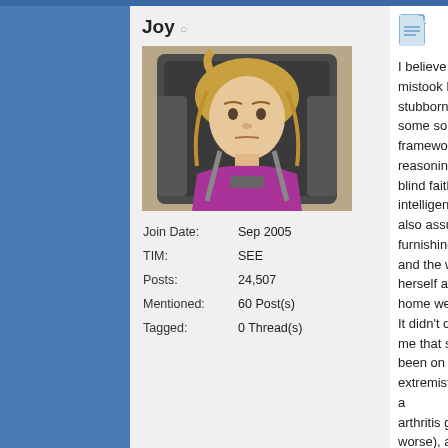Joy
[Figure (photo): Photo of a young blonde girl sitting in a car seat, wearing a purple shirt, looking at the camera with a serious expression. The background shows the interior of a car.]
Join Date: Sep 2005
TIM: SEE
Posts: 24,507
Mentioned: 60 Post(s)
Tagged: 0 Thread(s)
I believe I mistook her stubborn some sort of Ti framework, and reasoning and blind faith simply intelligence... I also assumed th furnishings, ect.) and the way sh herself and her home were the It didn't occur to me that she co been on this extremist diet for a arthritis got worse), and she's d workout plans in the past. Rock something about avoiding beco freak people who lose all sense think of my mom, and I sorta lab on the back burner for a little bit sister in law about my mom. We her "cheat day" from her diet, ar "Whatever, everyday is her chea said, "When I was living there s her diet, but she did it like 5 day her she just got all quiet and sto like a Si PoLR hit to me. 🙂) Sh had assumed was because she has a very difficult time denying decides she's hungry for, as I've To summarize, she has no sens reasonable when it comes to Si